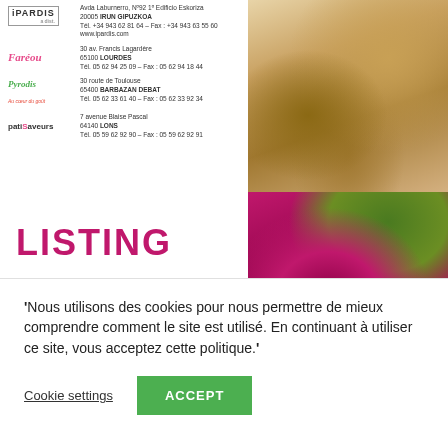IPARDIS - Avda Laburnerro, Nº92 1º Edificio Eskoriza, 20005 IRUN GIPUZKOA, Tél. +34 943 62 81 64 - Fax: +34 943 63 55 60, www.ipardis.com
Faréou - 30 av. Francis Lagardère, 65100 LOURDES, Tél. 05 62 94 25 09 - Fax: 05 62 94 18 44
Pyrodis - 30 route de Toulouse, 65400 BARBAZAN DEBAT, Tél. 05 62 33 61 40 - Fax: 05 62 33 92 34
patiSaveurs - 7 avenue Blaise Pascal, 64140 LONS, Tél. 05 59 62 92 90 - Fax: 05 59 62 92 91
[Figure (photo): Food photo showing sliced bread/baguette pieces on a wooden cutting board]
LISTING
[Figure (photo): Close-up food photo showing a pink/red berry or raspberry dessert with green mint leaf garnish]
'Nous utilisons des cookies pour nous permettre de mieux comprendre comment le site est utilisé. En continuant à utiliser ce site, vous acceptez cette politique.'
Cookie settings
ACCEPT